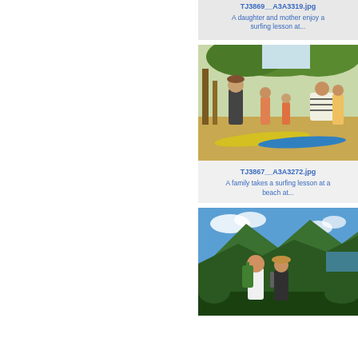[Figure (photo): Partial card top showing filename TJ3869__A3A3319.jpg and caption about daughter and mother surfing lesson]
TJ3869__A3A3319.jpg
A daughter and mother enjoy a surfing lesson at...
[Figure (photo): Family taking a surfing lesson on a beach with surfboards, trees in background]
TJ3867__A3A3272.jpg
A family takes a surfing lesson at a beach at...
[Figure (photo): Two hikers smiling with green mountains and blue ocean in background]